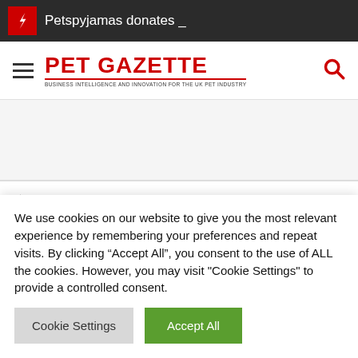Petspyjamas donates _
[Figure (logo): Pet Gazette logo with red text and tagline]
Home /
Onswitch
We use cookies on our website to give you the most relevant experience by remembering your preferences and repeat visits. By clicking "Accept All", you consent to the use of ALL the cookies. However, you may visit "Cookie Settings" to provide a controlled consent.
Cookie Settings | Accept All